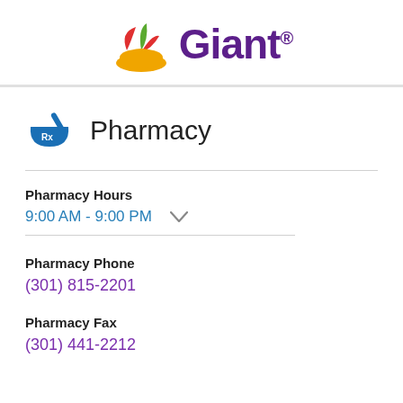[Figure (logo): Giant Food logo with leaf icon in red, green, and orange, and Giant wordmark in purple]
Pharmacy
Pharmacy Hours
9:00 AM - 9:00 PM
Pharmacy Phone
(301) 815-2201
Pharmacy Fax